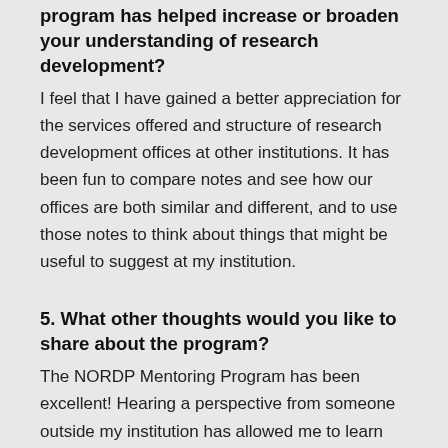program has helped increase or broaden your understanding of research development?
I feel that I have gained a better appreciation for the services offered and structure of research development offices at other institutions. It has been fun to compare notes and see how our offices are both similar and different, and to use those notes to think about things that might be useful to suggest at my institution.
5. What other thoughts would you like to share about the program?
The NORDP Mentoring Program has been excellent! Hearing a perspective from someone outside my institution has allowed me to learn more broadly about research development. During